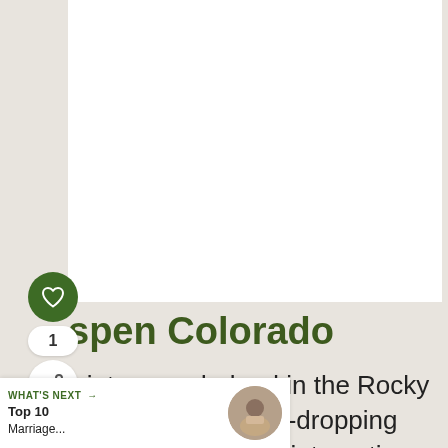[Figure (photo): White/blank image area representing a photo placeholder for Aspen Colorado]
spen Colorado
winter wonderland in the Rocky Mountains with jaw-dropping natural beauty and interesting places to spend
WHAT'S NEXT → Top 10 Marriage...